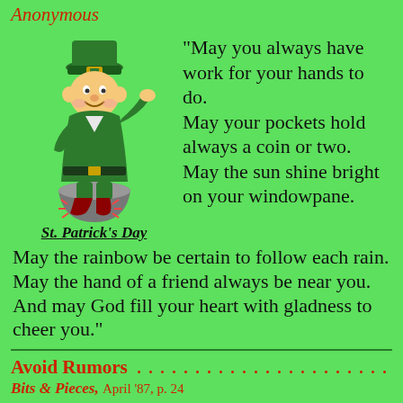Anonymous
[Figure (illustration): Cartoon leprechaun sitting on a pot, waving, wearing green outfit and hat, with 'St. Patrick's Day' label beneath]
"May you always have work for your hands to do. May your pockets hold always a coin or two. May the sun shine bright on your windowpane. May the rainbow be certain to follow each rain. May the hand of a friend always be near you. And may God fill your heart with gladness to cheer you."
Avoid Rumors
Bits & Pieces, April '87, p. 24
"The best way to avoid rumors is to put the facts on the table promptly, available to everyone. Don't sweep anything under the rug unless you have valid, compelling reasons for doing so. And think twice about those reasons."